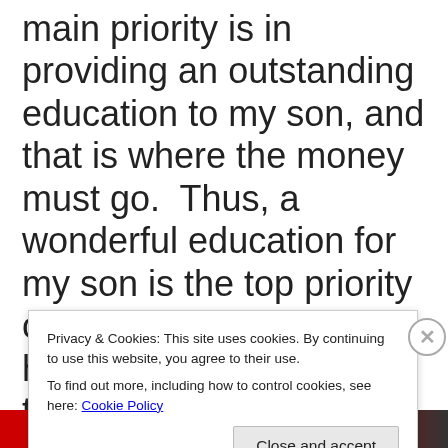main priority is in providing an outstanding education to my son, and that is where the money must go.  Thus, a wonderful education for my son is the top priority of sacrifice for me to him.  I strongly believe that such an excellent education is the best source of
Privacy & Cookies: This site uses cookies. By continuing to use this website, you agree to their use.
To find out more, including how to control cookies, see here: Cookie Policy
Close and accept
[Figure (photo): Red and dark banner image at the bottom of the page]